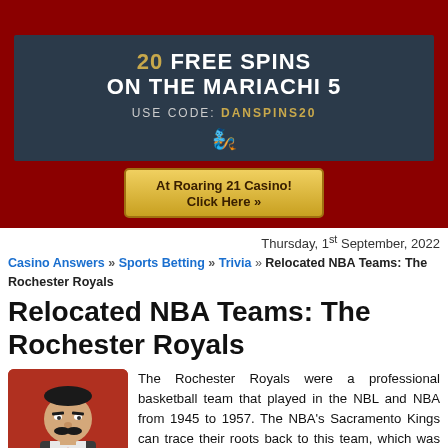[Figure (infographic): Casino promotion banner: '20 FREE SPINS ON THE MARIACHI 5 USE CODE: DANSPINS20' on dark blue background with lamp icon]
[Figure (other): Button: 'At Roaring 21 Casino! Click Here »']
Thursday, 1st September, 2022
Casino Answers » Sports Betting » Trivia » Relocated NBA Teams: The Rochester Royals
Relocated NBA Teams: The Rochester Royals
[Figure (illustration): Cartoon mustachioed man in vest with red tie on red background]
The Rochester Royals were a professional basketball team that played in the NBL and NBA from 1945 to 1957. The NBA's Sacramento Kings can trace their roots back to this team, which was one of the first teams in the NBA. The Rochester